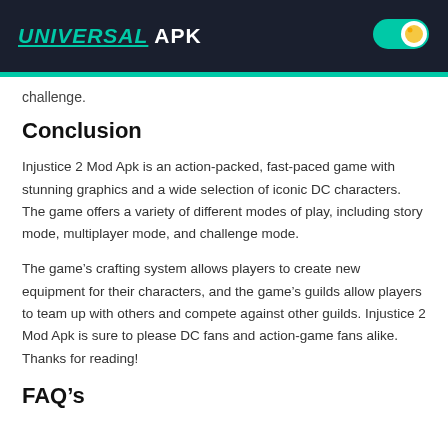UNIVERSAL APK
challenge.
Conclusion
Injustice 2 Mod Apk is an action-packed, fast-paced game with stunning graphics and a wide selection of iconic DC characters. The game offers a variety of different modes of play, including story mode, multiplayer mode, and challenge mode.
The game’s crafting system allows players to create new equipment for their characters, and the game’s guilds allow players to team up with others and compete against other guilds. Injustice 2 Mod Apk is sure to please DC fans and action-game fans alike. Thanks for reading!
FAQ’s